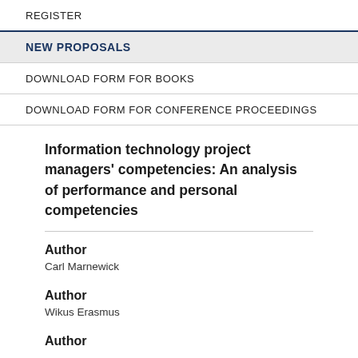REGISTER
NEW PROPOSALS
DOWNLOAD FORM FOR BOOKS
DOWNLOAD FORM FOR CONFERENCE PROCEEDINGS
Information technology project managers' competencies: An analysis of performance and personal competencies
Author
Carl Marnewick
Author
Wikus Erasmus
Author